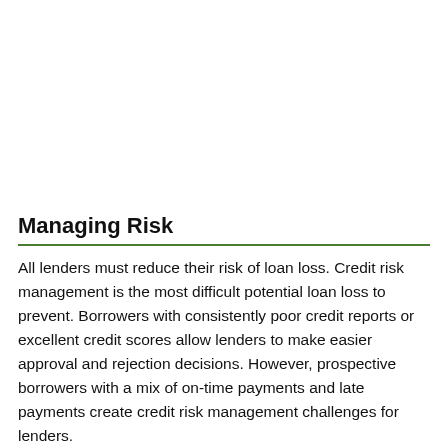Managing Risk
All lenders must reduce their risk of loan loss. Credit risk management is the most difficult potential loan loss to prevent. Borrowers with consistently poor credit reports or excellent credit scores allow lenders to make easier approval and rejection decisions. However, prospective borrowers with a mix of on-time payments and late payments create credit risk management challenges for lenders.